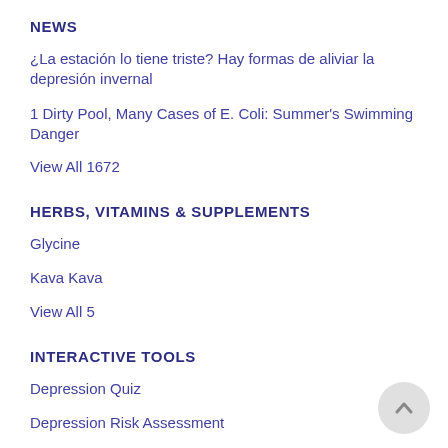NEWS
¿La estación lo tiene triste? Hay formas de aliviar la depresión invernal
1 Dirty Pool, Many Cases of E. Coli: Summer's Swimming Danger
View All 1672
HERBS, VITAMINS & SUPPLEMENTS
Glycine
Kava Kava
View All 5
INTERACTIVE TOOLS
Depression Quiz
Depression Risk Assessment
View All 6